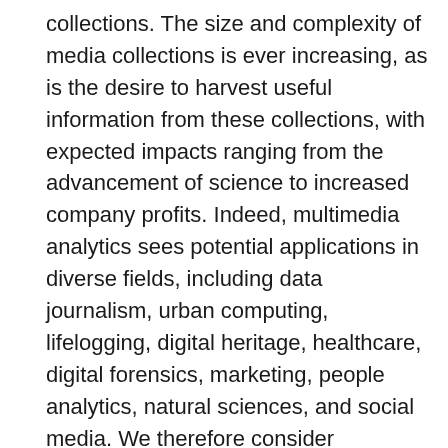collections. The size and complexity of media collections is ever increasing, as is the desire to harvest useful information from these collections, with expected impacts ranging from the advancement of science to increased company profits. Indeed, multimedia analytics sees potential applications in diverse fields, including data journalism, urban computing, lifelogging, digital heritage, healthcare, digital forensics, marketing, people analytics, natural sciences, and social media. We therefore consider multimedia analytics to be one of the core research challenges of the multimedia research community.
In the first half of the MAPTA session, each presenter will be given 8 minutes to present the main ideas of the paper. In the remainder of the session, we will host a panel with questions from